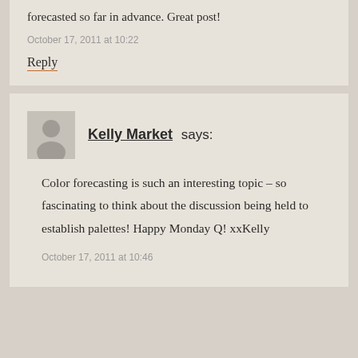forecasted so far in advance. Great post!
October 17, 2011 at 10:22
Reply
Kelly Market says:
Color forecasting is such an interesting topic – so fascinating to think about the discussion being held to establish palettes! Happy Monday Q! xxKelly
October 17, 2011 at 10:46